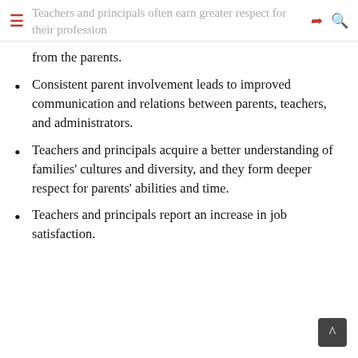Teachers and principals often earn greater respect for their profession
from the parents.
Consistent parent involvement leads to improved communication and relations between parents, teachers, and administrators.
Teachers and principals acquire a better understanding of families' cultures and diversity, and they form deeper respect for parents' abilities and time.
Teachers and principals report an increase in job satisfaction.